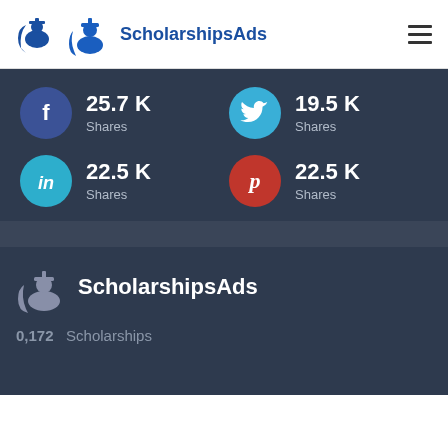ScholarshipsAds
[Figure (infographic): Social media share counts: Facebook 25.7K Shares, Twitter 19.5K Shares, LinkedIn 22.5K Shares, Pinterest 22.5K Shares]
[Figure (logo): ScholarshipsAds footer logo with graduation cap icon]
0,172   Scholarships